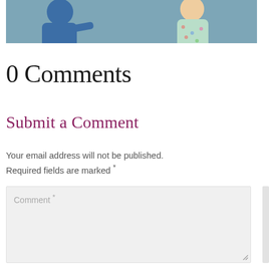[Figure (photo): Partial photo showing two people, one in blue shirt and one in floral dress, cropped at top of page]
0 Comments
Submit a Comment
Your email address will not be published. Required fields are marked *
Comment *